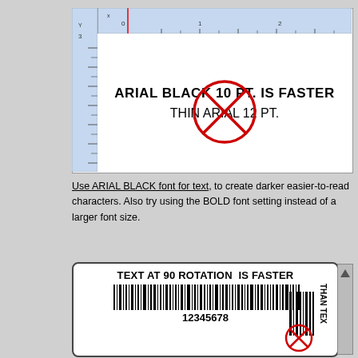[Figure (illustration): Software/application screenshot showing a label design area with horizontal and vertical rulers. The label displays 'ARIAL BLACK 10 PT. IS FASTER' in bold Arial Black font and 'THIN ARIAL 12 PT.' in thin Arial with a red circle-X cross mark over it.]
Use ARIAL BLACK font for text, to create darker easier-to-read characters. Also try using the BOLD font setting instead of a larger font size.
[Figure (illustration): Label design showing 'TEXT AT 90 ROTATION IS FASTER' in bold Arial Black, a barcode graphic, '12345678' below the barcode, and a rotated barcode/text on the lower right with a red cross mark over rotated text. A scroll arrow is visible on the far right.]